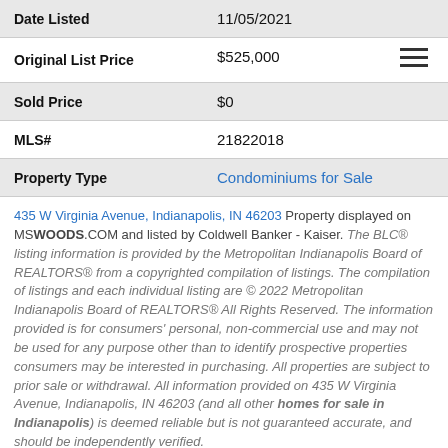| Date Listed | 11/05/2021 |
| Original List Price | $525,000 |
| Sold Price | $0 |
| MLS# | 21822018 |
| Property Type | Condominiums for Sale |
435 W Virginia Avenue, Indianapolis, IN 46203 Property displayed on MSWOODS.COM and listed by Coldwell Banker - Kaiser. The BLC® listing information is provided by the Metropolitan Indianapolis Board of REALTORS® from a copyrighted compilation of listings. The compilation of listings and each individual listing are © 2022 Metropolitan Indianapolis Board of REALTORS® All Rights Reserved. The information provided is for consumers' personal, non-commercial use and may not be used for any purpose other than to identify prospective properties consumers may be interested in purchasing. All properties are subject to prior sale or withdrawal. All information provided on 435 W Virginia Avenue, Indianapolis, IN 46203 (and all other homes for sale in Indianapolis) is deemed reliable but is not guaranteed accurate, and should be independently verified.
... return to Homes for Sale Indianapolis